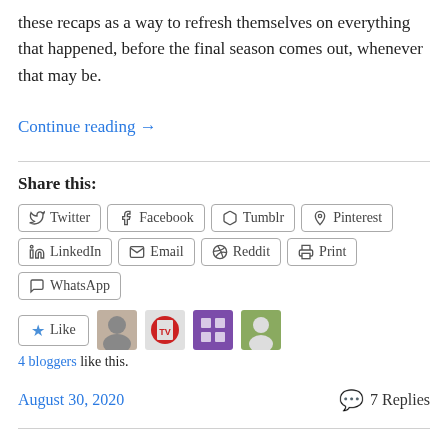these recaps as a way to refresh themselves on everything that happened, before the final season comes out, whenever that may be.
Continue reading →
Share this:
Twitter Facebook Tumblr Pinterest LinkedIn Email Reddit Print WhatsApp
Like
4 bloggers like this.
August 30, 2020
7 Replies